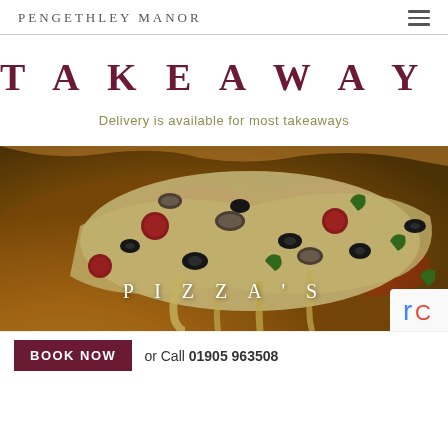PENGETHLEY MANOR
TAKEAWAYS
Delivery is available for most takeaways
[Figure (photo): Close-up photo of a pizza with melted cheese, black olives, pepperoni, green peppers, and mushrooms, with the text PIZZA'S overlaid in white spaced letters]
BOOK NOW  or Call 01905 963508